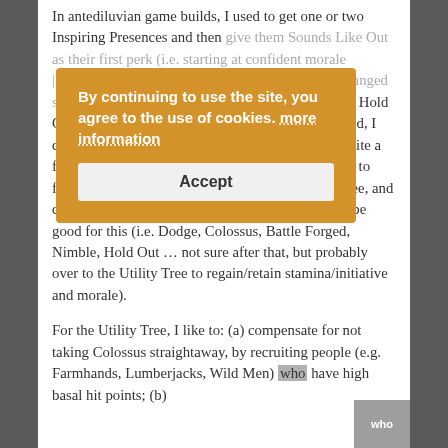In antediluvian game builds, I used to get one or two Inspiring Presences and then give them Sounds Like Out as their first perk (i.e. starting at confident morale because of presence, and now getting +10... with ranged stats) – something which hasn't been possible since Hold Out was switched to tier 2. In the current game build, I don't bother about tier 3 perks and, once I've got quite a few weaponmasters and one or two captains, I start to focus a higher number of recruits on the defence tree, and deliberately recruit thieves, gamblers etc. that will be good for this (i.e. Dodge, Colossus, Battle Forged, Nimble, Hold Out … not sure after that, but probably over to the Utility Tree to regain/retain stamina/initiative and morale).
[Figure (other): Cookie consent overlay banner with orange/amber background, bold white text reading 'By continuing to use the site, you agree to the use of cookies. more information' with dotted underline on 'more information', and an Accept button.]
For the Utility Tree, I like to: (a) compensate for not taking Colossus straightaway, by recruiting people (e.g. Farmhands, Lumberjacks, Wild Men) who have high basal hit points; (b)